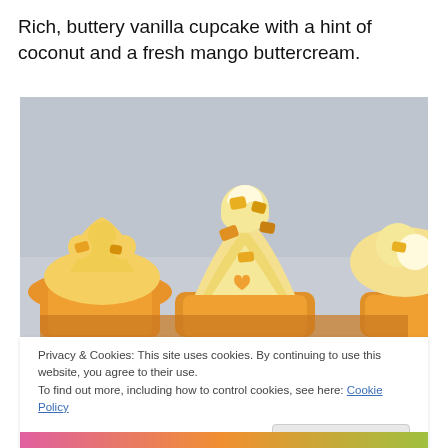Rich, buttery vanilla cupcake with a hint of coconut and a fresh mango buttercream.
[Figure (photo): Close-up photo of cupcakes with swirled yellow/cream mango buttercream frosting topped with chunks of mango, in golden yellow cupcake liners, on a light grey background.]
Privacy & Cookies: This site uses cookies. By continuing to use this website, you agree to their use.
To find out more, including how to control cookies, see here: Cookie Policy
Close and accept